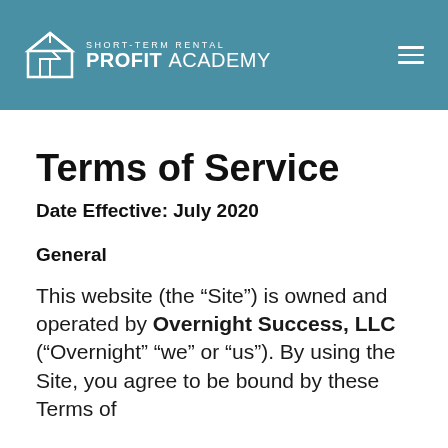SHORT-TERM RENTAL PROFIT ACADEMY
Terms of Service
Date Effective: July 2020
General
This website (the “Site”) is owned and operated by Overnight Success, LLC (“Overnight” “we” or “us”). By using the Site, you agree to be bound by these Terms of